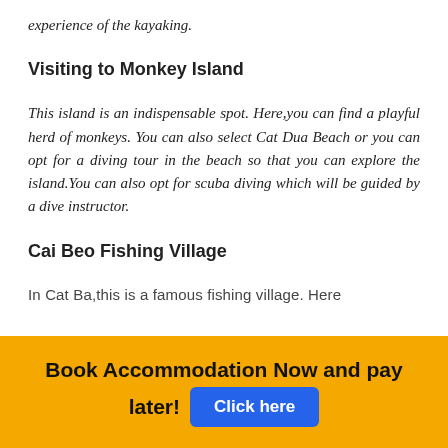experience of the kayaking.
Visiting to Monkey Island
This island is an indispensable spot. Here,you can find a playful herd of monkeys. You can also select Cat Dua Beach or you can opt for a diving tour in the beach so that you can explore the island.You can also opt for scuba diving which will be guided by a dive instructor.
Cai Beo Fishing Village
In Cat Ba,this is a famous fishing village. Here
Book Accommodation Now and pay later!
Click here